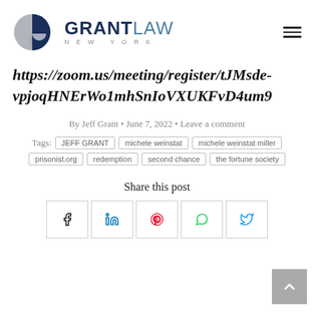[Figure (logo): Grant Law New York logo with circular pie-chart style icon in navy and grey, and text GRANTLAW NEW YORK]
https://zoom.us/meeting/register/tJMsde-vpjoqHNErWo1mhSnIoVXUKFvD4um9
By Jeff Grant • June 7, 2022 • Leave a comment
Tags: JEFF GRANT  michele weinstat  michele weinstat miller  prisonist.org  redemption  second chance  the fortune society
Share this post
[Figure (infographic): Social share buttons: Facebook (f), LinkedIn (in), Pinterest (p), WhatsApp (phone), Twitter (bird)]